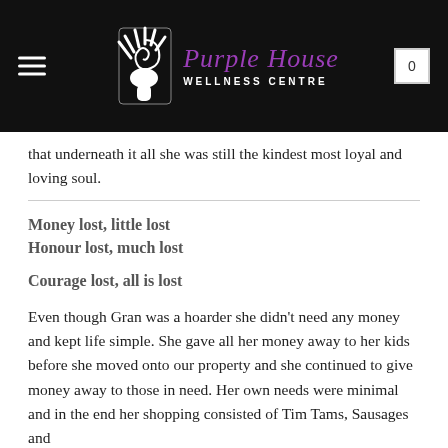[Figure (logo): Purple House Wellness Centre logo with a white stylized hand/spiral icon on a dark background and purple italic text reading 'Purple House' with 'WELLNESS CENTRE' below]
that underneath it all she was still the kindest most loyal and loving soul.
Money lost, little lost
Honour lost, much lost

Courage lost, all is lost
Even though Gran was a hoarder she didn't need any money and kept life simple. She gave all her money away to her kids before she moved onto our property and she continued to give money away to those in need. Her own needs were minimal and in the end her shopping consisted of Tim Tams, Sausages and